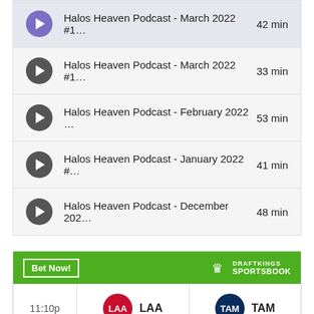Halos Heaven Podcast - March 2022 #1…  42 min
Halos Heaven Podcast - March 2022 #1…  33 min
Halos Heaven Podcast - February 2022 …  53 min
Halos Heaven Podcast - January 2022 #…  41 min
Halos Heaven Podcast - December 202…  48 min
[Figure (other): DraftKings Sportsbook betting widget showing LAA vs TAM game at 11:10p with spread +1.5 (-115) for LAA and -1.5 (-105) for TAM]